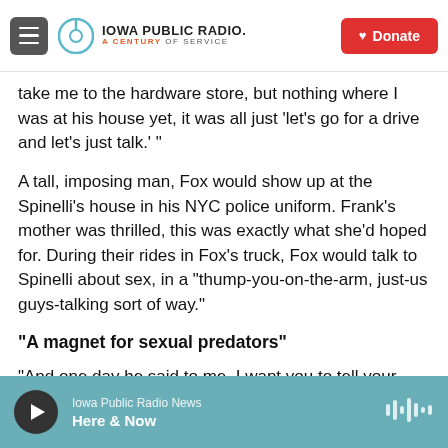Iowa Public Radio. A Century of Service. Donate
take me to the hardware store, but nothing where I was at his house yet, it was all just 'let's go for a drive and let's just talk.' "
A tall, imposing man, Fox would show up at the Spinelli's house in his NYC police uniform. Frank's mother was thrilled, this was exactly what she'd hoped for. During their rides in Fox's truck, Fox would talk to Spinelli about sex, in a "thump-you-on-the-arm, just-us guys-talking sort of way."
"A magnet for sexual predators"
"And one day he said to me, I want you to tell your
Iowa Public Radio News | Here & Now